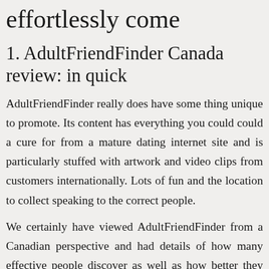effortlessly come
1. AdultFriendFinder Canada review: in quick
AdultFriendFinder really does have some thing unique to promote. Its content has everything you could could a cure for from a mature dating internet site and is particularly stuffed with artwork and video clips from customers internationally. Lots of fun and the location to collect speaking to the correct people.
We certainly have viewed AdultFriendFinder from a Canadian perspective and had details of how many effective people discover as well as how better they works for its Canadian community.